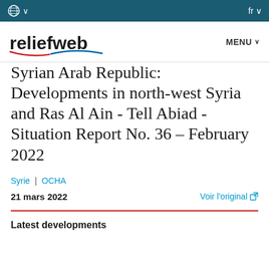reliefweb — MENU — fr
Syrian Arab Republic: Developments in north-west Syria and Ras Al Ain - Tell Abiad - Situation Report No. 36 – February 2022
Syrie | OCHA
21 mars 2022   Voir l'original
Latest developments